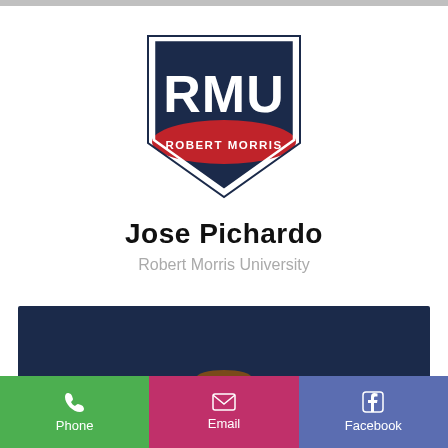[Figure (logo): RMU Robert Morris University shield logo with dark navy background and red banner]
Jose Pichardo
Robert Morris University
[Figure (other): Dark navy blue rectangular banner/bar]
[Figure (illustration): RMU Colonial mascot illustration - a figure in colonial attire]
Phone
Email
Facebook